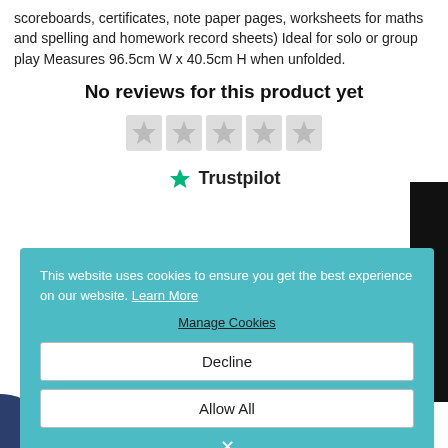scoreboards, certificates, note paper pages, worksheets for maths and spelling and homework record sheets) Ideal for solo or group play Measures 96.5cm W x 40.5cm H when unfolded.
No reviews for this product yet
[Figure (other): Five empty grey star rating icons in a row]
[Figure (logo): Trustpilot logo with green star and bold Trustpilot text]
This website uses cookies to ensure you get the best experience on our website. Learn More
Manage Cookies
Decline
Allow All